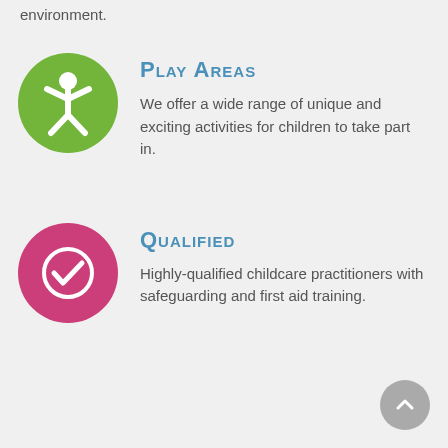environment.
[Figure (illustration): Green circle icon with white person/child figure with arms raised]
Play Areas
We offer a wide range of unique and exciting activities for children to take part in.
[Figure (illustration): Pink circle icon with white checkmark/tick inside a circle]
Qualified
Highly-qualified childcare practitioners with safeguarding and first aid training.